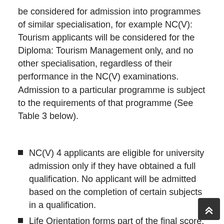be considered for admission into programmes of similar specialisation, for example NC(V): Tourism applicants will be considered for the Diploma: Tourism Management only, and no other specialisation, regardless of their performance in the NC(V) examinations. Admission to a particular programme is subject to the requirements of that programme (See Table 3 below).
NC(V) 4 applicants are eligible for university admission only if they have obtained a full qualification. No applicant will be admitted based on the completion of certain subjects in a qualification.
Life Orientation forms part of the final score,